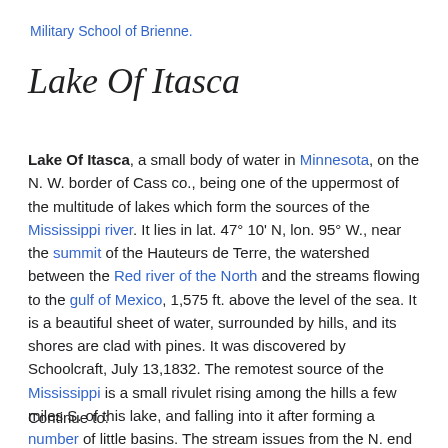Military School of Brienne.
Lake Of Itasca
Lake Of Itasca, a small body of water in Minnesota, on the N. W. border of Cass co., being one of the uppermost of the multitude of lakes which form the sources of the Mississippi river. It lies in lat. 47° 10' N, lon. 95° W., near the summit of the Hauteurs de Terre, the watershed between the Red river of the North and the streams flowing to the gulf of Mexico, 1,575 ft. above the level of the sea. It is a beautiful sheet of water, surrounded by hills, and its shores are clad with pines. It was discovered by Schoolcraft, July 13,1832. The remotest source of the Mississippi is a small rivulet rising among the hills a few miles S. of this lake, and falling into it after forming a number of little basins. The stream issues from the N. end of the lake 10 or 12 ft. wide, and 12 or 18 in. deep.
Continue to: